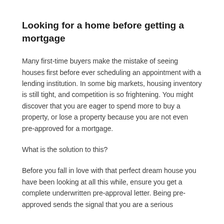Looking for a home before getting a mortgage
Many first-time buyers make the mistake of seeing houses first before ever scheduling an appointment with a lending institution. In some big markets, housing inventory is still tight, and competition is so frightening. You might discover that you are eager to spend more to buy a property, or lose a property because you are not even pre-approved for a mortgage.
What is the solution to this?
Before you fall in love with that perfect dream house you have been looking at all this while, ensure you get a complete underwritten pre-approval letter. Being pre-approved sends the signal that you are a serious